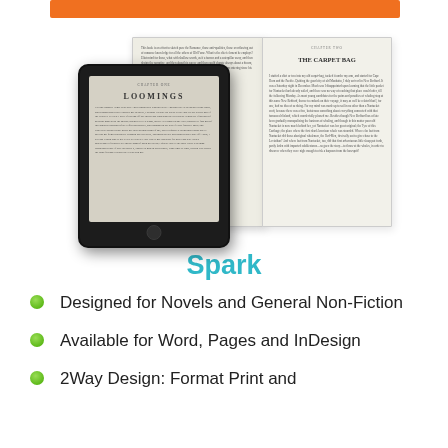[Figure (photo): Product image showing an open book with text pages and a tablet/iPad displaying an ebook reader with 'LOOMINGS' chapter text, placed in front of the open book.]
Spark
Designed for Novels and General Non-Fiction
Available for Word, Pages and InDesign
2Way Design: Format Print and